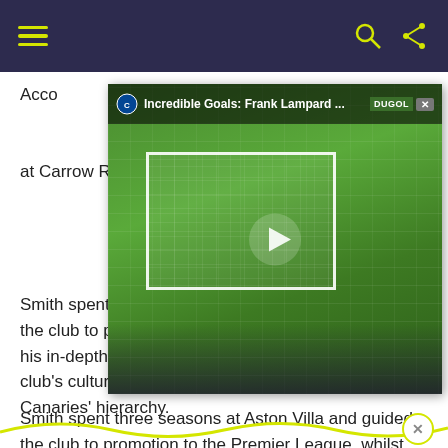Navigation bar with hamburger menu and icons
[Figure (screenshot): Video player overlay showing a football/soccer field with goal net, play button, Chelsea badge, title 'Incredible Goals: Frank Lampard ...' and DUGOL branding]
According to reports, have improved ... is under ... return to Premier League football at Carrow Road.
Smith spent three seasons at Aston Villa and guided the club to promotion to the Premier League, whilst his in-depth knowledge of the Norwich squad and the club's culture is said to have appealed to the Canaries' hierarchy.